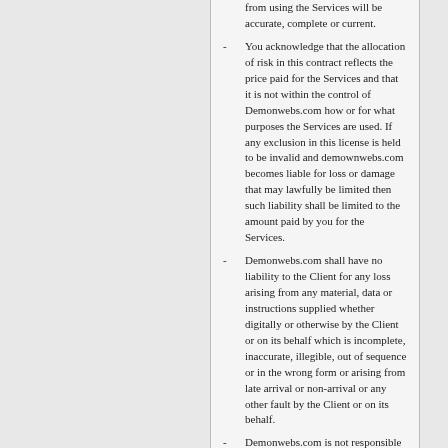from using the Services will be accurate, complete or current.
You acknowledge that the allocation of risk in this contract reflects the price paid for the Services and that it is not within the control of Demonwebs.com how or for what purposes the Services are used. If any exclusion in this license is held to be invalid and demownwebs.com becomes liable for loss or damage that may lawfully be limited then such liability shall be limited to the amount paid by you for the Services.
Demonwebs.com shall have no liability to the Client for any loss arising from any material, data or instructions supplied whether digitally or otherwise by the Client or on its behalf which is incomplete, inaccurate, illegible, out of sequence or in the wrong form or arising from late arrival or non-arrival or any other fault by the Client or on its behalf.
Demonwebs.com is not responsible for any delay, malfunction, non performance and/or other degradation of performance of any of the Services caused by or resulting from any alteration, modification